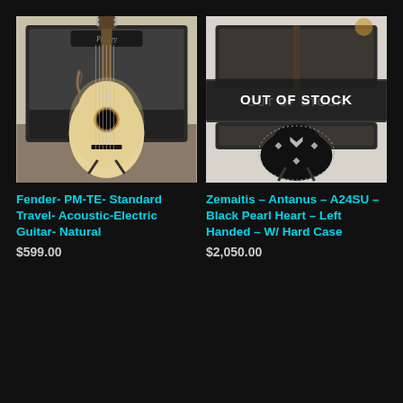[Figure (photo): Fender acoustic-electric travel guitar in natural finish, standing on a guitar stand in front of a Peavey amplifier]
[Figure (photo): Zemaitis Antanus A24SU Black Pearl Heart left-handed guitar displayed in front of an amplifier, with an OUT OF STOCK overlay banner]
Fender- PM-TE- Standard Travel- Acoustic-Electric Guitar- Natural
Zemaitis – Antanus – A24SU – Black Pearl Heart – Left Handed – W/ Hard Case
$599.00
$2,050.00